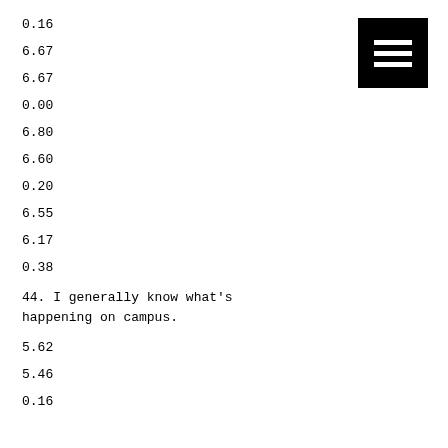0.16
6.67
6.67
0.00
6.80
6.60
0.20
6.55
6.17
0.38
44. I generally know what's happening on campus.
5.62
5.46
0.16
[Figure (other): Black square icon with three horizontal white lines (hamburger/menu icon)]